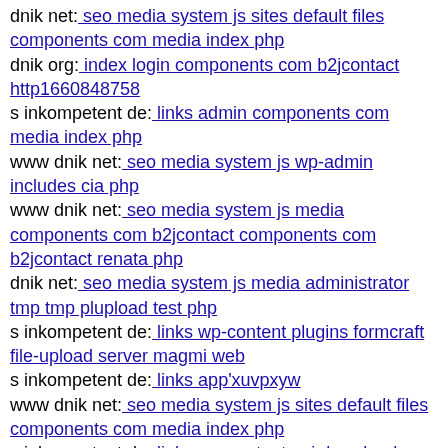dnik net: seo media system js sites default files components com media index php
dnik org: index login components com b2jcontact http1660848758
s inkompetent de: links admin components com media index php
www dnik net: seo media system js wp-admin includes cia php
www dnik net: seo media system js media components com b2jcontact components com b2jcontact renata php
dnik net: seo media system js media administrator tmp tmp plupload test php
s inkompetent de: links wp-content plugins formcraft file-upload server magmi web
s inkompetent de: links app'xuvpxyw
www dnik net: seo media system js sites default files components com media index php
s inkompetent de: links wp-content api downloader components media dnik net
www dnik net: seo media system js media wp-includes wp-content plugins revslider release log txt
s inkompetent de: links wp-content api downloader components components s inkompetent de
www dnik net: seo wp-content plugins candidate-application-form wp-content themes twentythirteen script
mail inkompetent de: links wp-content themes optimize style css
s inkompetent de: links zink
www dnik net: seo wp-content pluginsb'lxlgbk
dnik net: seo media system vendor phpunit phpunit src
www dnik net: seo media components com b2jcontact media